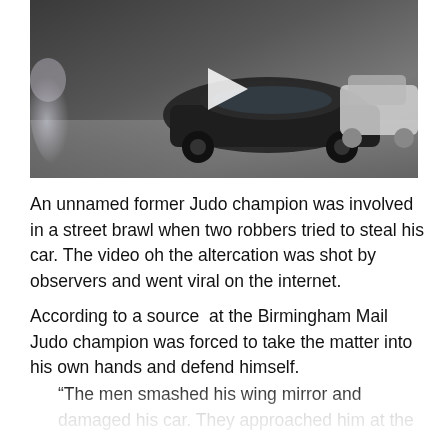[Figure (screenshot): Video thumbnail showing a dark-colored car on a street, with a white play button icon in the center and a blurred figure on the left side.]
An unnamed former Judo champion was involved in a street brawl when two robbers tried to steal his car. The video oh the altercation was shot by observers and went viral on the internet.
According to a source  at the Birmingham Mail Judo champion was forced to take the matter into his own hands and defend himself.
“The men smashed his wing mirror and damaged his car. They approached him at the lights and took his keys and tried to attack him, the source said. “He’s an ex-judo champion